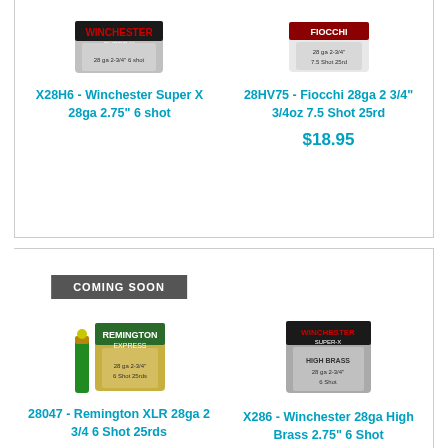[Figure (photo): Winchester Super X 28ga shotgun shell box product image]
X28H6 - Winchester Super X 28ga 2.75" 6 shot
[Figure (photo): Fiocchi 28ga 2 3/4" 3/4oz 7.5 Shot 25rd product image]
28HV75 - Fiocchi 28ga 2 3/4" 3/4oz 7.5 Shot 25rd
$18.95
COMING SOON
[Figure (photo): Remington XLR 28ga shotgun shell box and shell product image]
28047 - Remington XLR 28ga 2 3/4 6 Shot 25rds
[Figure (photo): Winchester 28ga High Brass box product image]
X286 - Winchester 28ga High Brass 2.75" 6 Shot